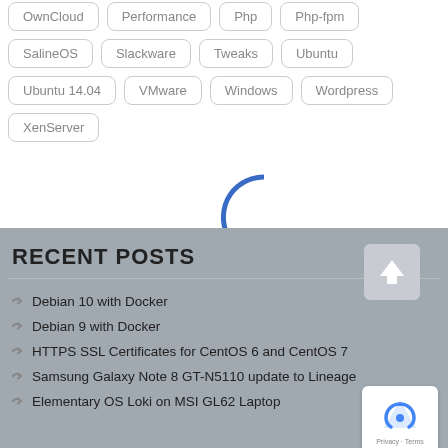OwnCloud
Performance
Php
Php-fpm
SalineOS
Slackware
Tweaks
Ubuntu
Ubuntu 14.04
VMware
Windows
Wordpress
XenServer
[Figure (other): Loading spinner (semicircle arc in blue)]
RECENT POSTS
Debian 10 with Docker
Debian 9 with Docker
HTTPS SSL Certificates for CentOS 6 and CentOS 7
Samsung Galaxy Note 8 GT-N5110 update to Lineage
Elementary OS Loki on MSI GL62 Laptop